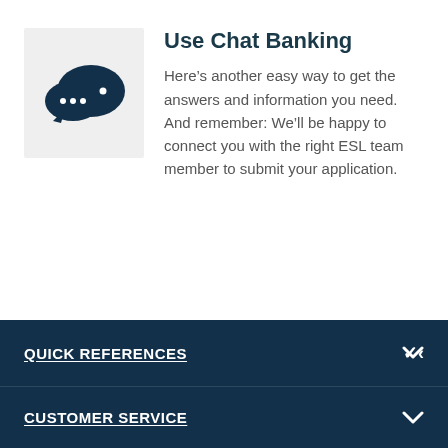[Figure (illustration): Dark teal chat bubble icons — two overlapping speech bubbles with ellipsis dots inside, representing chat/messaging]
Use Chat Banking
Here's another easy way to get the answers and information you need. And remember: We'll be happy to connect you with the right ESL team member to submit your application.
QUICK REFERENCES
CUSTOMER SERVICE